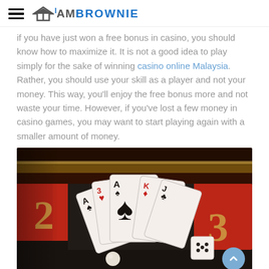I AM BROWNIE
if you have just won a free bonus in casino, you should know how to maximize it. It is not a good idea to play simply for the sake of winning casino online Malaysia. Rather, you should use your skill as a player and not your money. This way, you'll enjoy the free bonus more and not waste your time. However, if you've lost a few money in casino games, you may want to start playing again with a smaller amount of money.
[Figure (photo): Casino themed photo showing playing cards (ace of spades prominent) fanned out, dice, roulette wheel background with red and black sections, warm dark lighting]